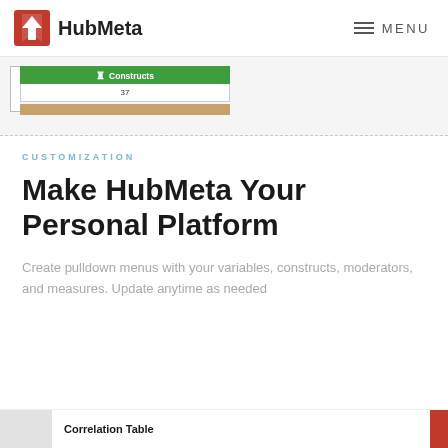HubMeta  MENU
[Figure (screenshot): Screenshot showing a HubMeta interface with a 'Constructs' table header in green and a count of 37, with a brownish bar beneath]
CUSTOMIZATION
Make HubMeta Your Personal Platform
Create pulldown menus with your variables, constructs, moderators, and measures. Update anytime as needed
Correlation Table